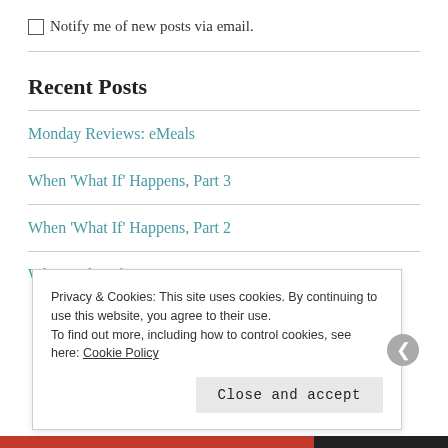Notify me of new posts via email.
Recent Posts
Monday Reviews: eMeals
When 'What If' Happens, Part 3
When 'What If' Happens, Part 2
When 'What If?' Happens, part 1
Privacy & Cookies: This site uses cookies. By continuing to use this website, you agree to their use.
To find out more, including how to control cookies, see here: Cookie Policy
Close and accept